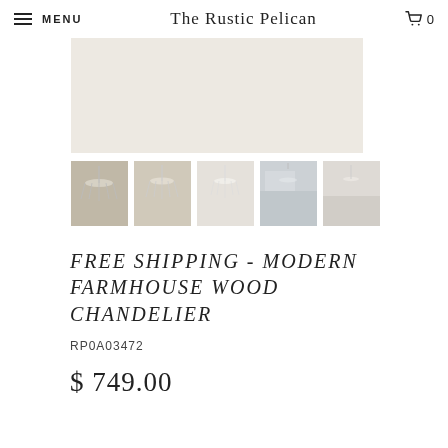MENU | The Rustic Pelican | 🛒 0
[Figure (photo): Main product image area - large light beige/cream background representing the chandelier display area]
[Figure (photo): Thumbnail 1: Close-up of chandelier with warm lighting against neutral background]
[Figure (photo): Thumbnail 2: Chandelier hanging photo with bokeh background]
[Figure (photo): Thumbnail 3: Chandelier against white background]
[Figure (photo): Thumbnail 4: Chandeliers in a kitchen/dining room setting]
[Figure (photo): Thumbnail 5: Chandelier in living room interior]
FREE SHIPPING - MODERN FARMHOUSE WOOD CHANDELIER
RP0A03472
$ 749.00